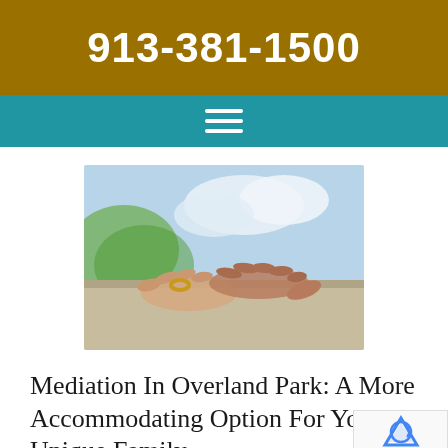913-381-1500
[Figure (photo): Two hands resting together on a stone surface, one with a gold wedding ring, with blurred green and sky background — symbolizing marriage and separation/mediation.]
Mediation In Overland Park: A More Accommodating Option For Your Unique Family